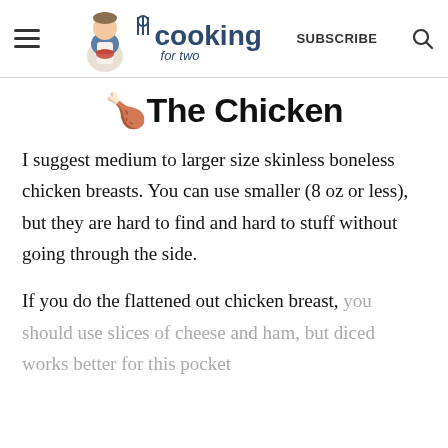cooking for two — SUBSCRIBE
🍗The Chicken
I suggest medium to larger size skinless boneless chicken breasts. You can use smaller (8 oz or less), but they are hard to find and hard to stuff without going through the side.
If you do the flattened out chicken breast, you should use slices of cheese and ham, but diced works better for this pocket